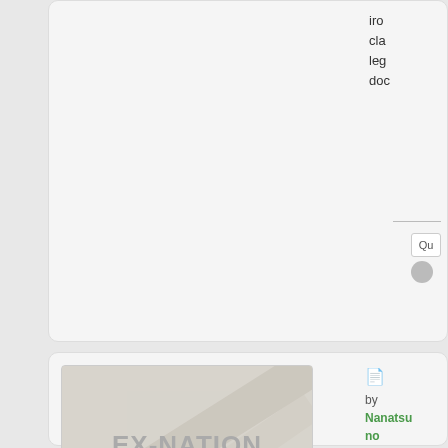iron
cla
leg
doc
[Figure (screenshot): Forum post card (top, partially visible) showing clipped text on right side and action buttons (Quote, arrow)]
[Figure (screenshot): Forum post card for user Nanatsu no Tsuki showing avatar image with EX-NATION text, username, Post-Apocalypse Survivor title, post count 202323, founded date Feb 10 2008, Ex-Nation nation. Right side shows post icon, by Nanatsu no Tsuki, Mon May 02, 2016 3:34 pm]
Nanatsu no Tsuki
Post-Apocalypse Survivor
Posts: 202323
Founded: Feb 10, 2008
Ex-Nation
by Nanatsu no Tsuki
» Mon May 02, 2016 3:34 pm